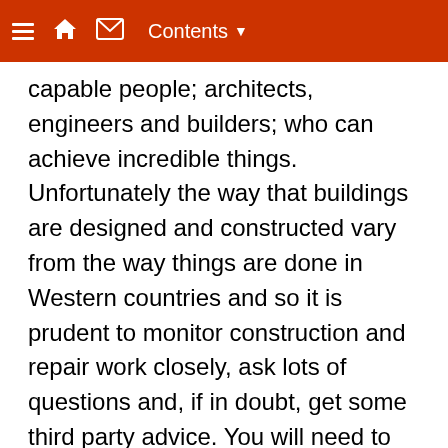Contents
capable people; architects, engineers and builders; who can achieve incredible things. Unfortunately the way that buildings are designed and constructed vary from the way things are done in Western countries and so it is prudent to monitor construction and repair work closely, ask lots of questions and, if in doubt, get some third party advice. You will need to check them out to make sure they know what they are doing.
Understanding some Indonesian/Malay will help. Note that the two languages are slightly different but very similar. Let us look at a glossary of building terms. English to Indonesian translations